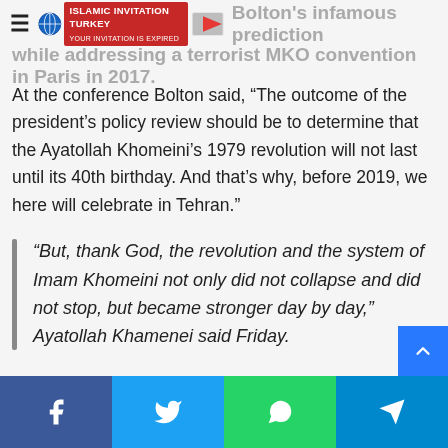≡ [Islamic Invitation Turkey logo] Bolton's infamous prediction while addressing a terrorist MKO convention in Paris in 2017.
At the conference Bolton said, “The outcome of the president’s policy review should be to determine that the Ayatollah Khomeini’s 1979 revolution will not last until its 40th birthday. And that’s why, before 2019, we here will celebrate in Tehran.”
“But, thank God, the revolution and the system of Imam Khomeini not only did not collapse and did not stop, but became stronger day by day,” Ayatollah Khamenei said Friday.
“It did not surrender, did not give up and rather showed its independence day by day. It achieved great success